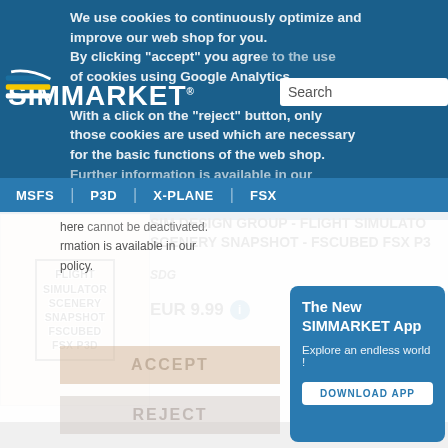[Figure (screenshot): SIMMARKET website screenshot with cookie consent overlay, product listing for SIM DESIGN GROUP - FLIGHT SIMULATOR SCENERY SNAPSHOT - FSCUBED FSX P3D, and app promotion widget]
We use cookies to continuously optimize and improve our web shop for you. By clicking "accept" you agree to the use of cookies using Google Analytics. With a click on the "reject" button, only those cookies are used which are necessary for the basic functions of the web shop. Further information is available in our privacy policy.
MSFS | P3D | X-PLANE | FSX
SIM DESIGN GROUP - FLIGHT SIMULATOR SCENERY SNAPSHOT - FSCUBED FSX P3D
SDG
EUR 9.99
The New SIMMARKET App
Explore an endless world !
DOWNLOAD APP
ACCEPT
REJECT